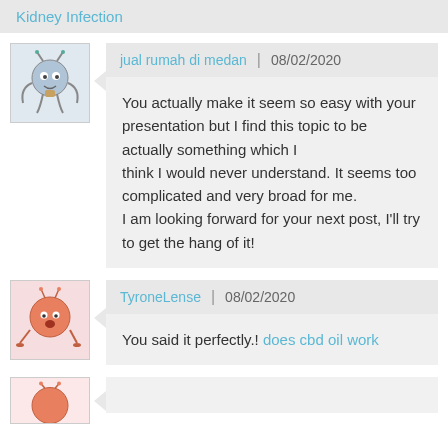Kidney Infection
jual rumah di medan  |  08/02/2020
You actually make it seem so easy with your presentation but I find this topic to be actually something which I think I would never understand. It seems too complicated and very broad for me. I am looking forward for your next post, I'll try to get the hang of it!
TyroneLense  |  08/02/2020
You said it perfectly.! does cbd oil work